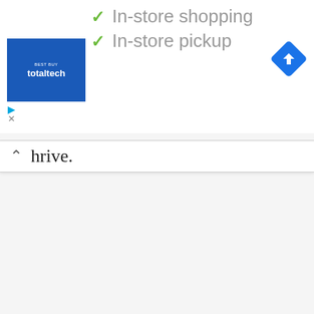[Figure (screenshot): Best Buy Total Tech logo — blue square with white text 'totaltech']
✓ In-store shopping
✓ In-store pickup
[Figure (logo): Google Maps navigation arrow icon — blue diamond with white right-turn arrow]
hrive.